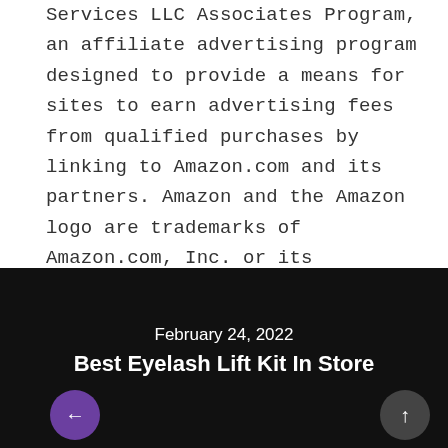Services LLC Associates Program, an affiliate advertising program designed to provide a means for sites to earn advertising fees from qualified purchases by linking to Amazon.com and its partners. Amazon and the Amazon logo are trademarks of Amazon.com, Inc. or its affiliates.
February 24, 2022
Best Eyelash Lift Kit In Store